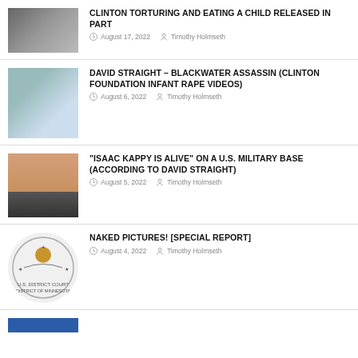CLINTON TORTURING AND EATING A CHILD RELEASED IN PART
August 17, 2022  Timothy Holmseth
DAVID STRAIGHT – BLACKWATER ASSASSIN (CLINTON FOUNDATION INFANT RAPE VIDEOS)
August 6, 2022  Timothy Holmseth
"ISAAC KAPPY IS ALIVE" ON A U.S. MILITARY BASE (ACCORDING TO DAVID STRAIGHT)
August 5, 2022  Timothy Holmseth
NAKED PICTURES! [SPECIAL REPORT]
August 4, 2022  Timothy Holmseth